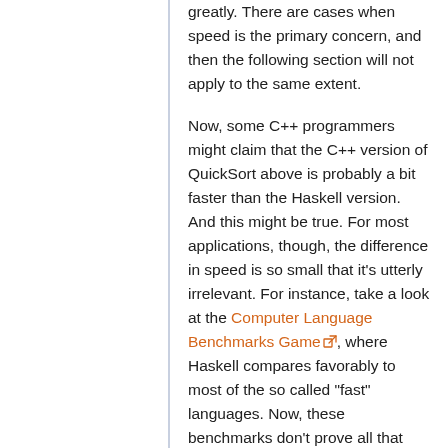greatly. There are cases when speed is the primary concern, and then the following section will not apply to the same extent.
Now, some C++ programmers might claim that the C++ version of QuickSort above is probably a bit faster than the Haskell version. And this might be true. For most applications, though, the difference in speed is so small that it's utterly irrelevant. For instance, take a look at the Computer Language Benchmarks Game, where Haskell compares favorably to most of the so called "fast" languages. Now, these benchmarks don't prove all that much about real-world performance, but they do show that Haskell isn't as slow as some people think. At the time of writing it's in 4th position, only slightly behind C